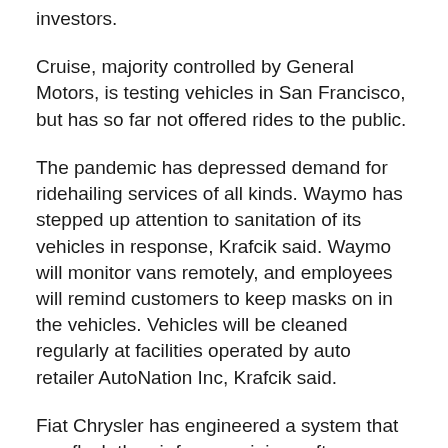investors.
Cruise, majority controlled by General Motors, is testing vehicles in San Francisco, but has so far not offered rides to the public.
The pandemic has depressed demand for ridehailing services of all kinds. Waymo has stepped up attention to sanitation of its vehicles in response, Krafcik said. Waymo will monitor vans remotely, and employees will remind customers to keep masks on in the vehicles. Vehicles will be cleaned regularly at facilities operated by auto retailer AutoNation Inc, Krafcik said.
Fiat Chrysler has engineered a system that can flush the air from a minivan after every ride, he said.
The field of companies trying to develop self-driving vehicles has been consolidating as technology and